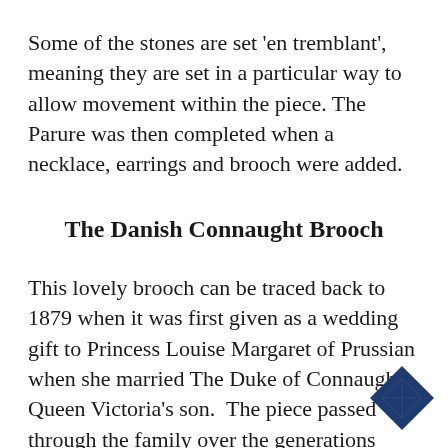Some of the stones are set 'en tremblant', meaning they are set in a particular way to allow movement within the piece. The Parure was then completed when a necklace, earrings and brooch were added.
The Danish Connaught Brooch
This lovely brooch can be traced back to 1879 when it was first given as a wedding gift to Princess Louise Margaret of Prussian when she married The Duke of Connaught, Queen Victoria's son. The piece passed through the family over the generations until eventually